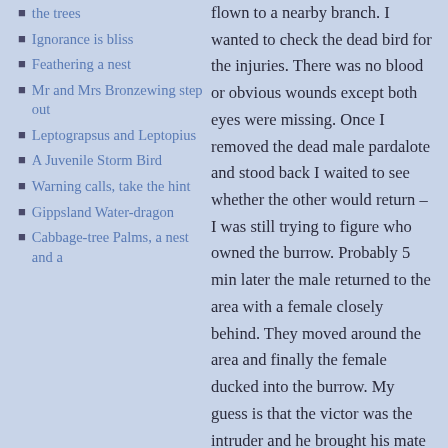the trees
Ignorance is bliss
Feathering a nest
Mr and Mrs Bronzewing step out
Leptograpsus and Leptopius
A Juvenile Storm Bird
Warning calls, take the hint
Gippsland Water-dragon
Cabbage-tree Palms, a nest and a
flown to a nearby branch. I wanted to check the dead bird for the injuries. There was no blood or obvious wounds except both eyes were missing. Once I removed the dead male pardalote and stood back I waited to see whether the other would return – I was still trying to figure who owned the burrow. Probably 5 min later the male returned to the area with a female closely behind. They moved around the area and finally the female ducked into the burrow. My guess is that the victor was the intruder and he brought his mate to inspect this prime position. I had no idea that this beautiful tiny bird had such ferocious fights to the death